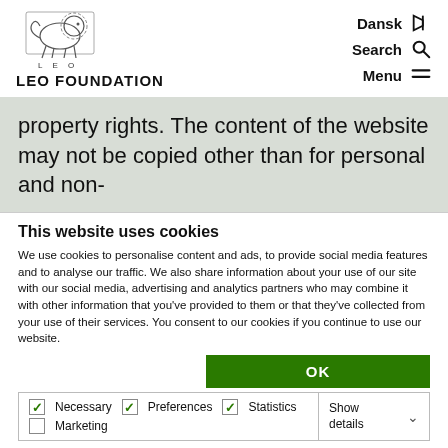[Figure (logo): LEO Foundation logo with lion illustration and text 'LEO FOUNDATION']
Dansk  Search  Menu
property rights. The content of the website may not be copied other than for personal and non-
This website uses cookies
We use cookies to personalise content and ads, to provide social media features and to analyse our traffic. We also share information about your use of our site with our social media, advertising and analytics partners who may combine it with other information that you've provided to them or that they've collected from your use of their services. You consent to our cookies if you continue to use our website.
OK
Necessary  Preferences  Statistics  Marketing  Show details